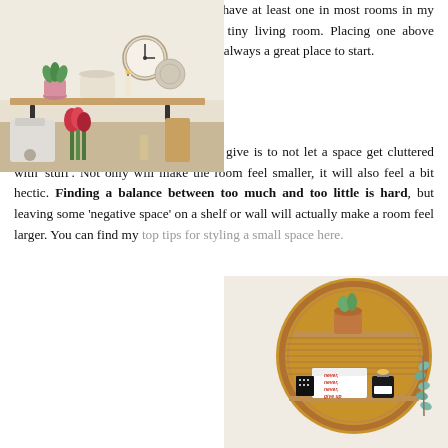filling a gap, pop up a large mirror. I have at least one in most rooms in my house, and actually have two in my tiny living room. Placing one above furniture, like mantlepieces or sofas, is always a great place to start.
Step ten: Less is more
And finally, one of the best tips I can give is to not let a space get cluttered with 'stuff'. Not only will make the room feel smaller, it will also feel a bit hectic. Finding a balance between too much and too little is hard, but leaving some 'negative space' on a shelf or wall will actually make a room feel larger. You can find my top tips for styling a small space here.
[Figure (photo): Kitchen shelf with a clock, plants in pink pots, kitchen scales, candle, decorative plate, with a KitchenAid mixer and tulips on the counter below]
[Figure (photo): Round rattan wall shelf against a mustard yellow painted circle on the wall, with a plant, candle, 'never give up' sign, and eucalyptus leaves]